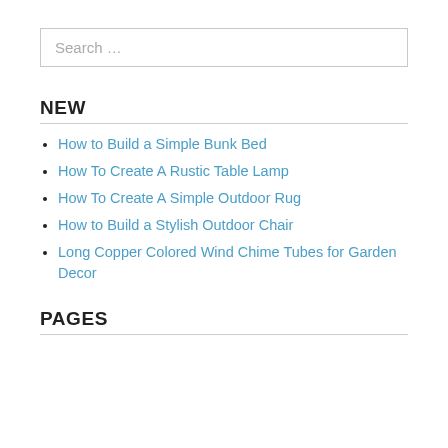[Figure (screenshot): Search input box with placeholder text 'Search …']
NEW
How to Build a Simple Bunk Bed
How To Create A Rustic Table Lamp
How To Create A Simple Outdoor Rug
How to Build a Stylish Outdoor Chair
Long Copper Colored Wind Chime Tubes for Garden Decor
PAGES